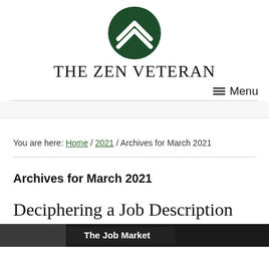[Figure (logo): The Zen Veteran logo: dark green circle with white double chevron (sergeant rank insignia) inside]
THE ZEN VETERAN
≡ Menu
You are here: Home / 2021 / Archives for March 2021
Archives for March 2021
Deciphering a Job Description
[Figure (photo): Partial view of a job market related image at the bottom of the page]